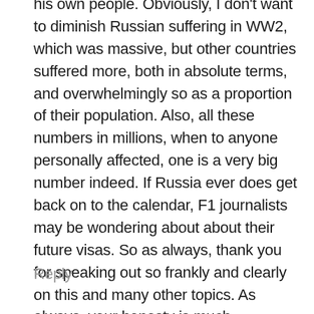his own people. Obviously, I don't want to diminish Russian suffering in WW2, which was massive, but other countries suffered more, both in absolute terms, and overwhelmingly so as a proportion of their population. Also, all these numbers in millions, when to anyone personally affected, one is a very big number indeed. If Russia ever does get back on to the calendar, F1 journalists may be wondering about about their future visas. So as always, thank you for speaking out so frankly and clearly on this and many other topics. As always, your honesty is much appreciated.
Reply